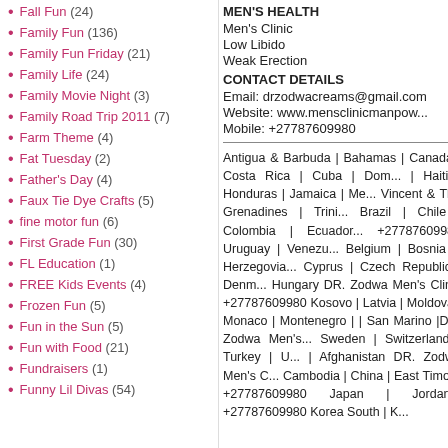Fall Fun (24)
Family Fun (136)
Family Fun Friday (21)
Family Life (24)
Family Movie Night (3)
Family Road Trip 2011 (7)
Farm Theme (4)
Fat Tuesday (2)
Father's Day (4)
Faux Tie Dye Crafts (5)
fine motor fun (6)
First Grade Fun (30)
FL Education (1)
FREE Kids Events (4)
Frozen Fun (5)
Fun in the Sun (5)
Fun with Food (21)
Fundraisers (1)
Funny Lil Divas (54)
MEN'S HEALTH
Men's Clinic
Low Libido
Weak Erection
CONTACT DETAILS
Email: drzodwacreams@gmail.com
Website: www.mensclinicmanpower...
Mobile: +27787609980
Antigua & Barbuda | Bahamas | Canada | Costa Rica | Cuba | Dominican Republic | Haiti | Honduras | Jamaica | Mexico | Saint Vincent & The Grenadines | Trinidad | Brazil | Chile | Colombia | Ecuador | +27787609980 Uruguay | Venezuela | Belgium | Bosnia & Herzegovina | Cyprus | Czech Republic | Denmark | Hungary DR. Zodwa Men's Clinic +27787609980 Kosovo | Latvia | Moldova | Monaco | Montenegro | | San Marino |DR. Zodwa Men's Clinic | Sweden | Switzerland | Turkey | United Kingdom | Afghanistan DR. Zodwa Men's Clinic | Cambodia | China | East Timor | +27787609980 Japan | Jordan | +27787609980 Korea South | Korea | Mongolia | Morocco | Tanzania...